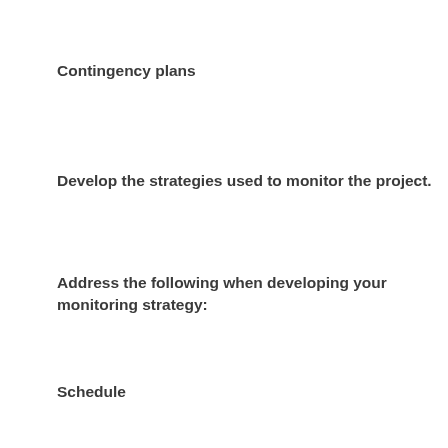Contingency plans
Develop the strategies used to monitor the project.
Address the following when developing your monitoring strategy:
Schedule